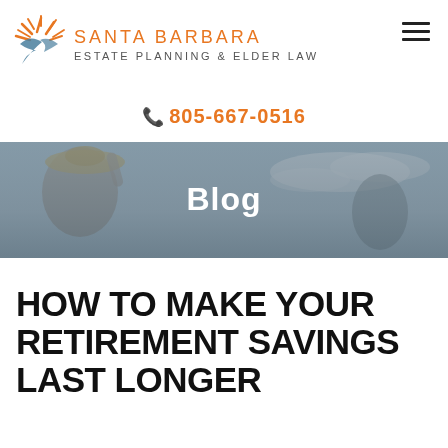[Figure (logo): Santa Barbara Estate Planning & Elder Law logo with orange sunburst/bird graphic]
805-667-0516
[Figure (photo): Hero banner image of an older woman smiling outdoors wearing a hat, with a man in background, overlaid with semi-transparent blue-gray filter and the word 'Blog']
HOW TO MAKE YOUR RETIREMENT SAVINGS LAST LONGER